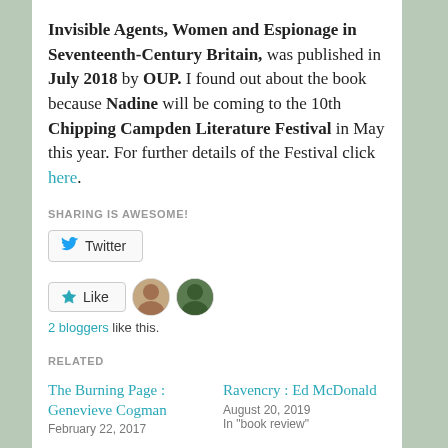Invisible Agents, Women and Espionage in Seventeenth-Century Britain, was published in July 2018 by OUP. I found out about the book because Nadine will be coming to the 10th Chipping Campden Literature Festival in May this year. For further details of the Festival click here.
SHARING IS AWESOME!
[Figure (screenshot): Twitter share button and Like button with two blogger avatars]
2 bloggers like this.
RELATED
The Burning Page : Genevieve Cogman
February 22, 2017
Ravencry : Ed McDonald
August 20, 2019
In "book review"